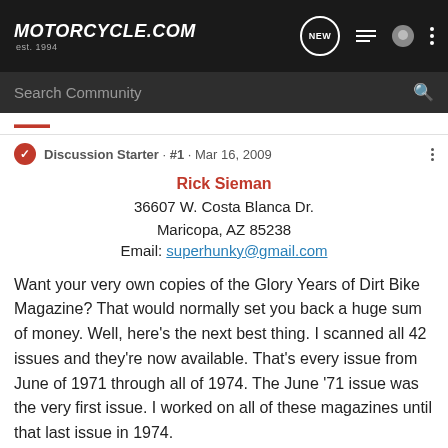[Figure (screenshot): Motorcycle.com website navigation bar with logo, NEW chat icon, list icon, user icon, and three-dot menu]
[Figure (screenshot): Search Community search bar on dark background]
Discussion Starter · #1 · Mar 16, 2009
Rick Sieman
36607 W. Costa Blanca Dr.
Maricopa, AZ 85238
Email: superhunky@gmail.com
Want your very own copies of the Glory Years of Dirt Bike Magazine? That would normally set you back a huge sum of money. Well, here's the next best thing. I scanned all 42 issues and they're now available. That's every issue from June of 1971 through all of 1974. The June '71 issue was the very first issue. I worked on all of these magazines until that last issue in 1974.